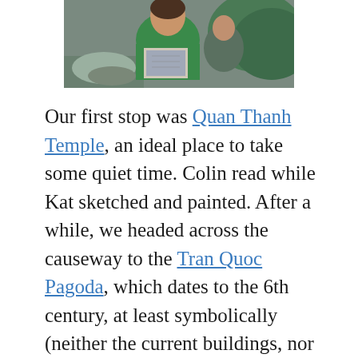[Figure (photo): Partial photo of a person in a green shirt holding a photo/book, outdoors near water and rocks]
Our first stop was Quan Thanh Temple, an ideal place to take some quiet time. Colin read while Kat sketched and painted. After a while, we headed across the causeway to the Tran Quoc Pagoda, which dates to the 6th century, at least symbolically (neither the current buildings, nor the current location date to the 6th century). As Americans, we tend to be impressed by age and fixate on it, but in places where templates are made of wood and constantly rebuilt for hundreds or thousands of years, dates become somewhat more fluid.